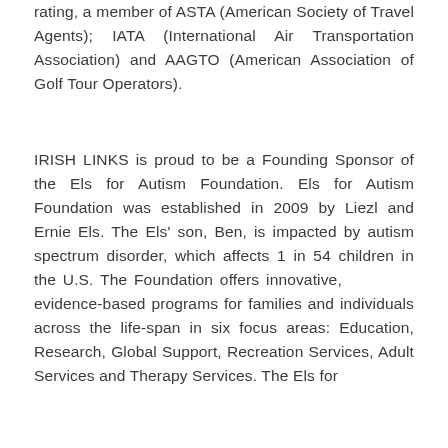rating, a member of ASTA (American Society of Travel Agents); IATA (International Air Transportation Association) and AAGTO (American Association of Golf Tour Operators).
IRISH LINKS is proud to be a Founding Sponsor of the Els for Autism Foundation. Els for Autism Foundation was established in 2009 by Liezl and Ernie Els. The Els' son, Ben, is impacted by autism spectrum disorder, which affects 1 in 54 children in the U.S. The Foundation offers innovative, evidence-based programs for families and individuals across the life-span in six focus areas: Education, Research, Global Support, Recreation Services, Adult Services and Therapy Services. The Els for